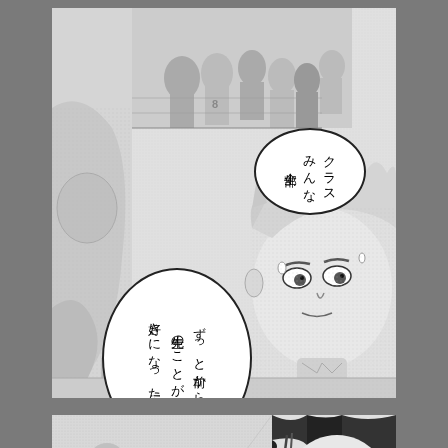[Figure (illustration): Manga panel showing muscular male characters in a gymnasium/sports setting. Background shows basketball players in uniform. Two speech bubbles in Japanese: top bubble reads 'クラス みんな 全部！' (The whole class! Everyone!), main bubble reads 'ずっと前から 先生のことが 好きになった!!' (I've liked you, teacher, for a long time!!). Foreground shows close-up of a blonde spiky-haired male character with intense expression.]
[Figure (illustration): Manga panel showing a group of male characters sitting/crouching together on the left, and a close-up of a dark-haired male character with wide shocked eyes on the right, with speed lines indicating dramatic reaction.]